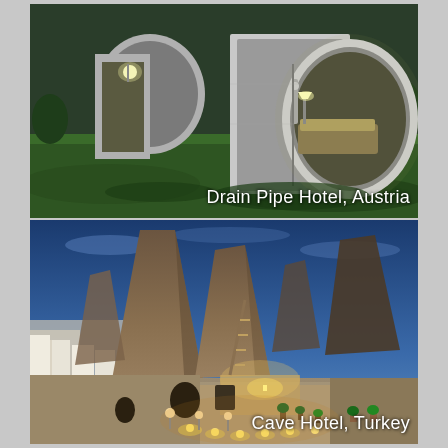[Figure (photo): Drain pipe hotel rooms in Austria — large concrete cylindrical pipes lying on a grass field, converted into sleeping quarters with beds, lamps and a door visible inside one open pipe. Evening or dusk setting.]
Drain Pipe Hotel, Austria
[Figure (photo): Cave hotel in Cappadocia, Turkey — tall conical rock formations (fairy chimneys) with carved-out cave rooms, photographed at dusk with blue sky. Courtyard with pathway lights, potted plants, and stone architecture visible in the foreground.]
Cave Hotel, Turkey